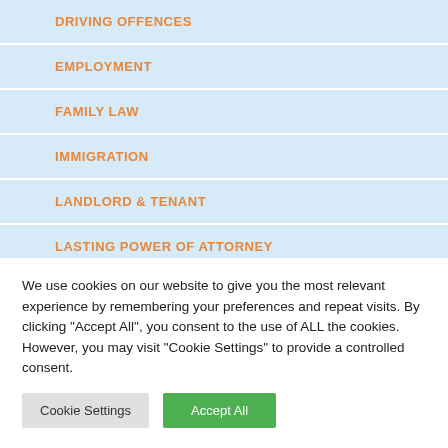DRIVING OFFENCES
EMPLOYMENT
FAMILY LAW
IMMIGRATION
LANDLORD & TENANT
LASTING POWER OF ATTORNEY
We use cookies on our website to give you the most relevant experience by remembering your preferences and repeat visits. By clicking "Accept All", you consent to the use of ALL the cookies. However, you may visit "Cookie Settings" to provide a controlled consent.
Cookie Settings | Accept All